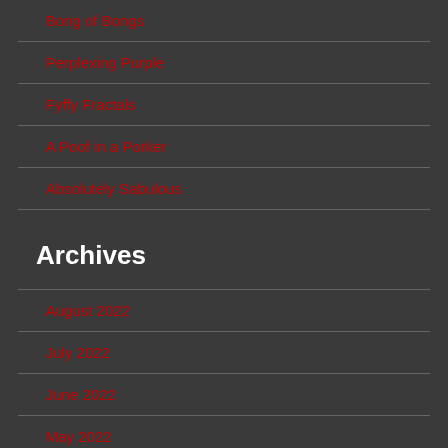Bong of Bongs
Perplexing Purple
Fyffy Fractals
A Poof in a Porker
Absolutely Sabulous
Archives
August 2022
July 2022
June 2022
May 2022
April 2022
March 2022